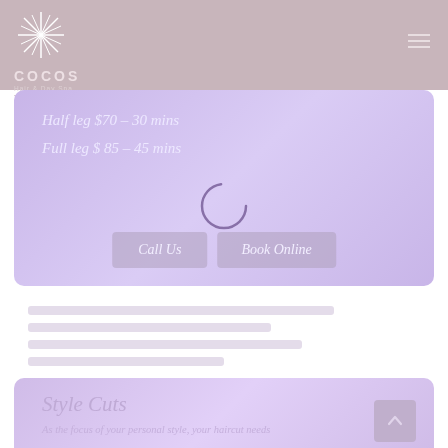[Figure (logo): Cocos Hair & Day Spa Stirling logo with star/asterisk symbol in white on mauve background, with brand name and location text]
Half leg $70 – 30 mins
Full leg $ 85 – 45 mins
[Figure (other): Loading spinner circle (purple outline) overlapping the Call Us and Book Online buttons]
Call Us
Book Online
Style Cuts
As the focus of your personal style, your haircut needs